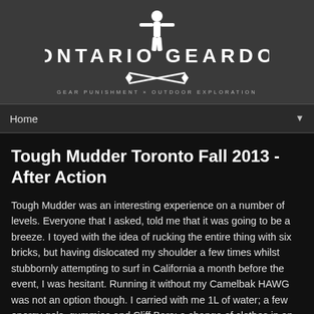[Figure (logo): Ontario Geardo logo with white silhouette figure, crossed axes/tools, text 'ONTARIO GEARDO' and tagline 'GEAR PUNISHMENT OUTDOOR EXPLORATION']
Home ▼
Tough Mudder Toronto Fall 2013 - After Action
Tough Mudder was an interesting experience on a number of levels. Everyone that I asked, told me that it was going to be a breeze. I toyed with the idea of rucking the entire thing with six bricks, but having dislocated my shoulder a few times whilst stubbornly attempting to surf in California a month before the event, I was hesitant. Running it without my Camelbak HAWG was not an option though. I carried with me 1L of water; a few energy gels, gummies and Cliff Bars; a change of clothes in an OR dry bag, and a first aid kit.